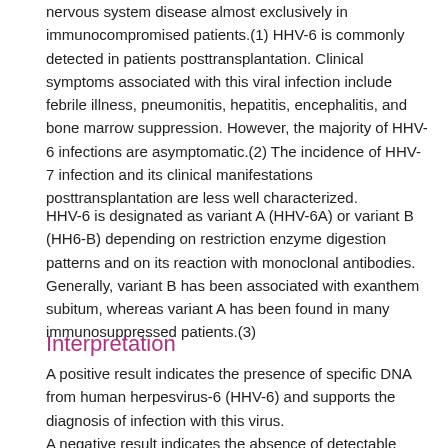nervous system disease almost exclusively in immunocompromised patients.(1) HHV-6 is commonly detected in patients posttransplantation. Clinical symptoms associated with this viral infection include febrile illness, pneumonitis, hepatitis, encephalitis, and bone marrow suppression. However, the majority of HHV-6 infections are asymptomatic.(2) The incidence of HHV-7 infection and its clinical manifestations posttransplantation are less well characterized.
HHV-6 is designated as variant A (HHV-6A) or variant B (HH6-B) depending on restriction enzyme digestion patterns and on its reaction with monoclonal antibodies. Generally, variant B has been associated with exanthem subitum, whereas variant A has been found in many immunosuppressed patients.(3)
Interpretation
A positive result indicates the presence of specific DNA from human herpesvirus-6 (HHV-6) and supports the diagnosis of infection with this virus.
A negative result indicates the absence of detectable DNA from